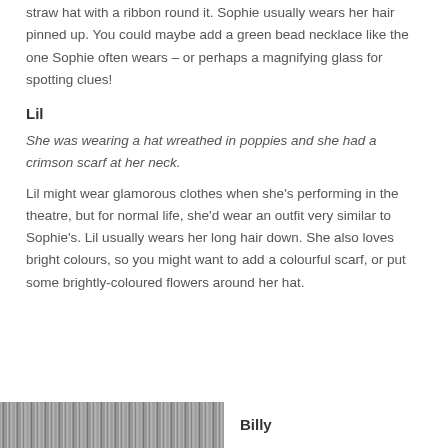straw hat with a ribbon round it. Sophie usually wears her hair pinned up. You could maybe add a green bead necklace like the one Sophie often wears – or perhaps a magnifying glass for spotting clues!
Lil
She was wearing a hat wreathed in poppies and she had a crimson scarf at her neck.
Lil might wear glamorous clothes when she's performing in the theatre, but for normal life, she'd wear an outfit very similar to Sophie's. Lil usually wears her long hair down. She also loves bright colours, so you might want to add a colourful scarf, or put some brightly-coloured flowers around her hat.
[Figure (photo): Black and white striped image at bottom left of page]
Billy